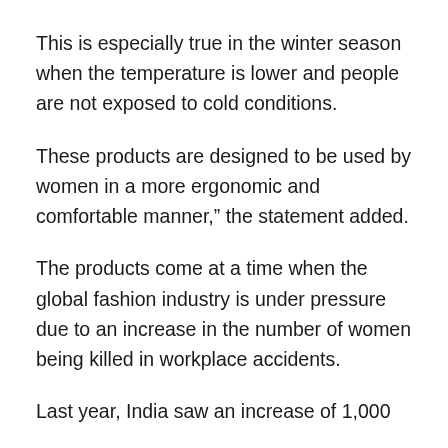This is especially true in the winter season when the temperature is lower and people are not exposed to cold conditions.
These products are designed to be used by women in a more ergonomic and comfortable manner," the statement added.
The products come at a time when the global fashion industry is under pressure due to an increase in the number of women being killed in workplace accidents.
Last year, India saw an increase of 1,000